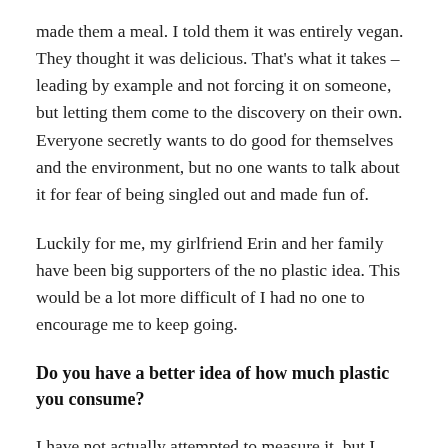made them a meal. I told them it was entirely vegan. They thought it was delicious. That's what it takes – leading by example and not forcing it on someone, but letting them come to the discovery on their own. Everyone secretly wants to do good for themselves and the environment, but no one wants to talk about it for fear of being singled out and made fun of.
Luckily for me, my girlfriend Erin and her family have been big supporters of the no plastic idea. This would be a lot more difficult of I had no one to encourage me to keep going.
Do you have a better idea of how much plastic you consume?
I have not actually attempted to measure it, but I probably consume around three pieces of one time use plastic a week. In the beginning I tracked all of this, and want to get back to doing that. It's really all about being prepared to avoid these